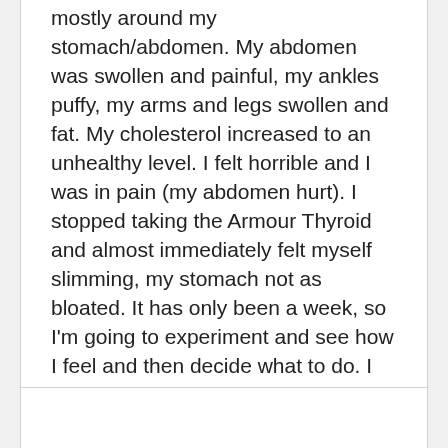mostly around my stomach/abdomen. My abdomen was swollen and painful, my ankles puffy, my arms and legs swollen and fat. My cholesterol increased to an unhealthy level. I felt horrible and I was in pain (my abdomen hurt). I stopped taking the Armour Thyroid and almost immediately felt myself slimming, my stomach not as bloated. It has only been a week, so I'm going to experiment and see how I feel and then decide what to do. I may try the generic levothyroxine again. The only complaint I had with that was thinning hair but at least I felt healthy. Fed up in Arkansas USA.